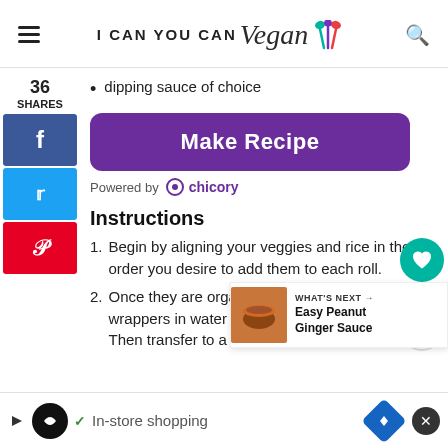I CAN YOU CAN Vegan
dipping sauce of choice
[Figure (other): Purple 'Make Recipe' button by Chicory]
Powered by chicory
Instructions
1. Begin by aligning your veggies and rice in the order you desire to add them to each roll.
2. Once they are organized, dip your spring roll wrappers in water for 10-15 seconds or until soft. Then transfer to a clean, dry
[Figure (other): WHAT'S NEXT: Easy Peanut Ginger Sauce promotional overlay]
In-store shopping ad bar